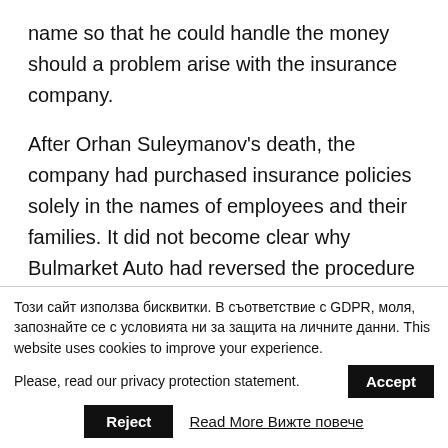name so that he could handle the money should a problem arise with the insurance company.
After Orhan Suleymanov's death, the company had purchased insurance policies solely in the names of employees and their families. It did not become clear why Bulmarket Auto had reversed the procedure without considering it a vicious practice.
The insurance policy bonuses could not be
Този сайт използва бисквитки. В съответствие с GDPR, моля, запознайте се с условията ни за защита на личните данни. This website uses cookies to improve your experience. Please, read our privacy protection statement. Accept Reject Read More Вижте повече